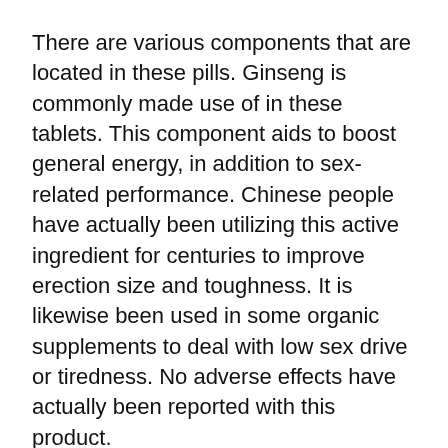There are various components that are located in these pills. Ginseng is commonly made use of in these tablets. This component aids to boost general energy, in addition to sex-related performance. Chinese people have actually been utilizing this active ingredient for centuries to improve erection size and toughness. It is likewise been used in some organic supplements to deal with low sex drive or tiredness. No adverse effects have actually been reported with this product.
Tribulus terrestris is one more ingredient located in penis pills. This herb has actually been utilized by the Chinese for centuries to assist handle troubles with impotence. This